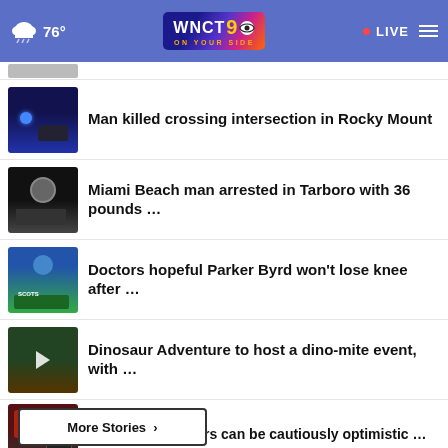WNCT 9 ON YOUR SIDE · 76° · LIVE
Man killed crossing intersection in Rocky Mount
Miami Beach man arrested in Tarboro with 36 pounds …
Doctors hopeful Parker Byrd won't lose knee after …
Dinosaur Adventure to host a dino-mite event, with …
Experts say drivers can be cautiously optimistic …
More Stories >